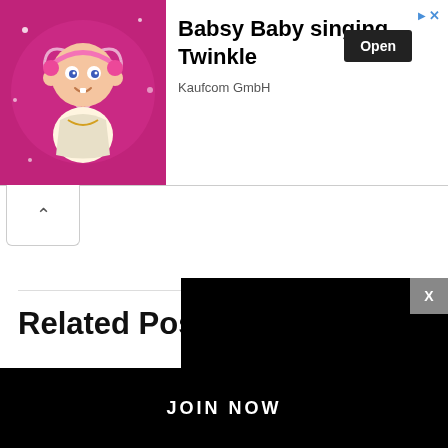[Figure (illustration): Advertisement banner for 'Babsy Baby singing Twinkle' by Kaufcom GmbH. Shows a cartoon baby character on a pink sparkly background with an 'Open' button.]
Babsy Baby singing Twinkle
Kaufcom GmbH
Related Po...
We use cookies on our... relevant experience by... repeat visits. By clickin...
[Figure (screenshot): Video player overlay showing a black video screen with a play button, progress bar, and controls showing 13:52 timestamp, CC button, grid button, settings, and fullscreen icons.]
DON'T PARENT ALONE
JOIN NOW